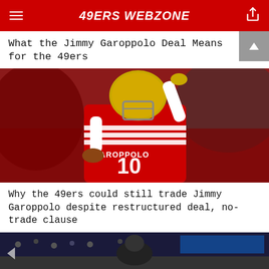49ERS WEBZONE
What the Jimmy Garoppolo Deal Means for the 49ers
[Figure (photo): Jimmy Garoppolo #10 in San Francisco 49ers red jersey throwing a pass, helmet on, arm raised]
Why the 49ers could still trade Jimmy Garoppolo despite restructured deal, no-trade clause
[Figure (photo): Partial view of a person at an outdoor stadium, bottom portion of page]